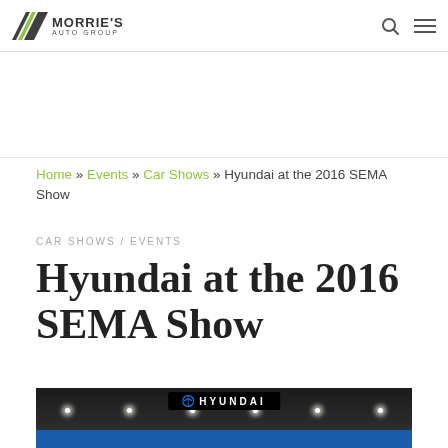Morrie's Auto Group
Home » Events » Car Shows » Hyundai at the 2016 SEMA Show
CAR SHOWS / EVENTS
Hyundai at the 2016 SEMA Show
[Figure (photo): Hyundai display booth at the 2016 SEMA Show, showing the Hyundai sign overhead, ceiling with spotlights, and a blue-accented display area.]